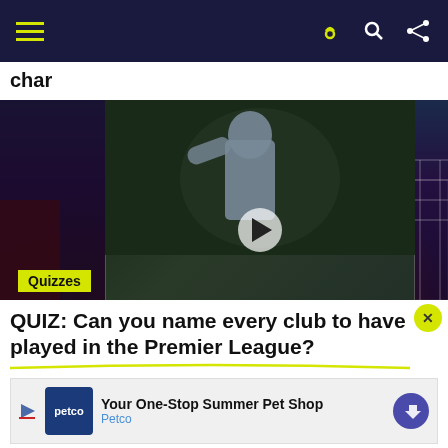Navigation bar with hamburger menu and icons
cha...
[Figure (screenshot): Dugout video overlay showing Hat-Trick Heroes: Robbie Keane'... with play button, Spurs TV branding, on a dark green soccer background]
[Figure (photo): Soccer players from behind, wearing numbered jerseys, standing near a goal net]
Quizzes
QUIZ: Can you name every club to have played in the Premier League?
[Figure (infographic): Petco advertisement: Your One-Stop Summer Pet Shop — Petco]